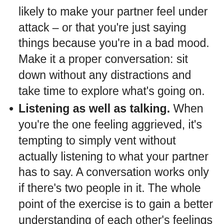likely to make your partner feel under attack – or that you're just saying things because you're in a bad mood. Make it a proper conversation: sit down without any distractions and take time to explore what's going on.
Listening as well as talking. When you're the one feeling aggrieved, it's tempting to simply vent without actually listening to what your partner has to say. A conversation works only if there's two people in it. The whole point of the exercise is to gain a better understanding of each other's feelings and thoughts so, even if you find explanations frustrating or upsetting, try to take them seriously.
Taking responsibility for your own feelings. Explain how things are affecting you